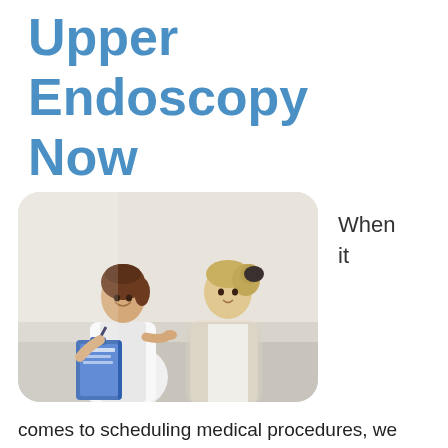Upper Endoscopy Now
[Figure (photo): A smiling female doctor in white coat with stethoscope holding a blue clipboard, consulting with a blonde female patient in a clinical setting.]
When it comes to scheduling medical procedures, we often have a laundry list of concerns. How much will it cost? Can I afford to take the time off work? Can it wait? Any time is a good time to make your health a priority, but there are